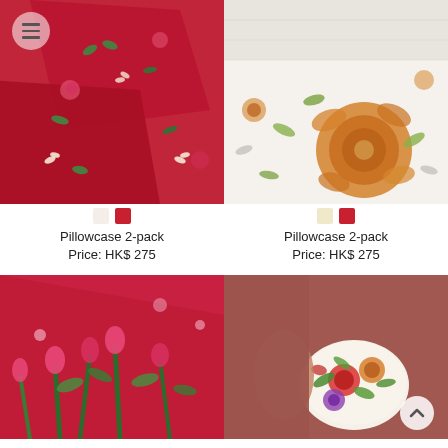[Figure (photo): Red floral pillowcases stacked together, pink roses and leaf pattern on dark red/crimson background]
Pillowcase 2-pack
Price: HK$ 275
[Figure (photo): White pillowcase with large orange/gold floral pattern, placed on bed with white bedding]
Pillowcase 2-pack
Price: HK$ 275
[Figure (photo): Red/pink floral fabric with green tulip and leaf pattern closeup]
[Figure (photo): Person holding a small white bottle/pillow with colorful floral pattern including roses in red, orange, purple, green]